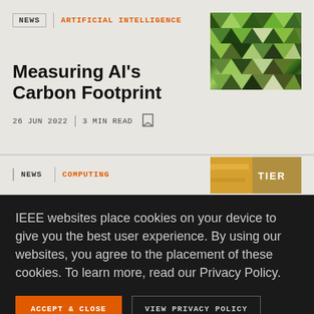NEWS | ARTIFICIAL INTELLIGENCE
Measuring AI's Carbon Footprint
26 JUN 2022 | 3 MIN READ
[Figure (photo): Abstract triangular mosaic image with green and grey geometric shapes]
NEWS | COMPUTING
[Figure (photo): Partial image of computing equipment, partially obscured by cookie overlay]
IEEE websites place cookies on your device to give you the best user experience. By using our websites, you agree to the placement of these cookies. To learn more, read our Privacy Policy.
ACCEPT & CLOSE | VIEW PRIVACY POLICY